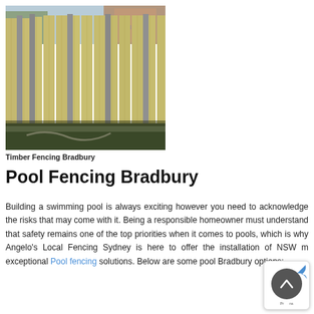[Figure (photo): Photograph of a tall timber fence with wooden vertical planks and grey metal posts, constructed along the side of a property with grass and hose visible on the ground, trees and brick house in the background.]
Timber Fencing Bradbury
Pool Fencing Bradbury
Building a swimming pool is always exciting however you need to acknowledge the risks that may come with it. Being a responsible homeowner must understand that safety remains one of the top priorities when it comes to pools, which is why Angelo's Local Fencing Sydney is here to offer the installation of NSW m exceptional Pool fencing solutions. Below are some pool Bradbury options: